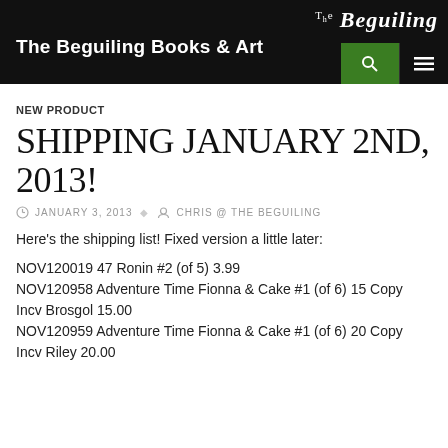The Beguiling Books & Art
NEW PRODUCT
SHIPPING JANUARY 2ND, 2013!
JANUARY 3, 2013   CHRIS @ THE BEGUILING
Here's the shipping list! Fixed version a little later:
NOV120019 47 Ronin #2 (of 5) 3.99
NOV120958 Adventure Time Fionna & Cake #1 (of 6) 15 Copy Incv Brosgol 15.00
NOV120959 Adventure Time Fionna & Cake #1 (of 6) 20 Copy Incv Riley 20.00